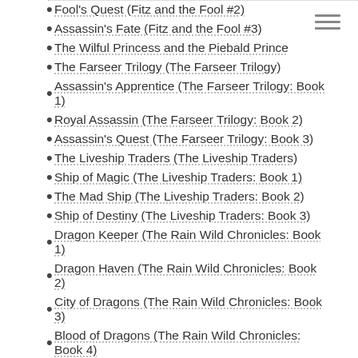Fool's Quest (Fitz and the Fool #2)
Assassin's Fate (Fitz and the Fool #3)
The Wilful Princess and the Piebald Prince
The Farseer Trilogy (The Farseer Trilogy)
Assassin's Apprentice (The Farseer Trilogy: Book 1)
Royal Assassin (The Farseer Trilogy: Book 2)
Assassin's Quest (The Farseer Trilogy: Book 3)
The Liveship Traders (The Liveship Traders)
Ship of Magic (The Liveship Traders: Book 1)
The Mad Ship (The Liveship Traders: Book 2)
Ship of Destiny (The Liveship Traders: Book 3)
Dragon Keeper (The Rain Wild Chronicles: Book 1)
Dragon Haven (The Rain Wild Chronicles: Book 2)
City of Dragons (The Rain Wild Chronicles: Book 3)
Blood of Dragons (The Rain Wild Chronicles: Book 4)
The Soldier Son Trilogy (The Soldier Son Trilogy)